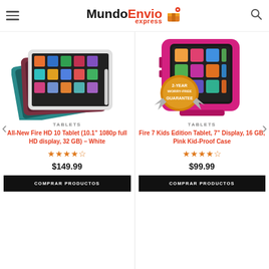Mundo Envio Express
[Figure (photo): Amazon Fire HD 10 tablet in white, blue, mauve/dark red color variants stacked]
TABLETS
All-New Fire HD 10 Tablet (10.1" 1080p full HD display, 32 GB) – White
★★★★☆
$149.99
COMPRAR PRODUCTOS
[Figure (photo): Amazon Fire 7 Kids Edition Tablet in pink kid-proof case with 2-year worry-free guarantee badge]
TABLETS
Fire 7 Kids Edition Tablet, 7" Display, 16 GB, Pink Kid-Proof Case
★★★★☆
$99.99
COMPRAR PRODUCTOS